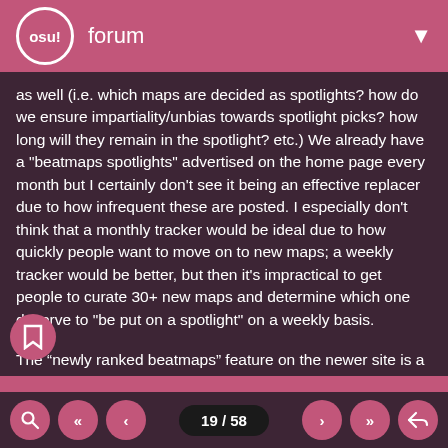osu! forum
as well (i.e. which maps are decided as spotlights? how do we ensure impartiality/unbias towards spotlight picks? how long will they remain in the spotlight? etc.) We already have a "beatmaps spotlights" advertised on the home page every month but I certainly don't see it being an effective replacer due to how infrequent these are posted. I especially don't think that a monthly tracker would be ideal due to how quickly people want to move on to new maps; a weekly tracker would be better, but then it's impractical to get people to curate 30+ new maps and determine which one deserve to "be put on a spotlight" on a weekly basis.
The “newly ranked beatmaps” feature on the newer site is a neat idea too, but because of how fast things get ranked these maps don’t gain a lot of exposure either.
To sum it all up: older maps shouldn’t receive as much exposure; beatmap spotlights are proven to be ineffective; newer maps could use longer exposure. Maybe something where we display most popular maps within a specific time
19 / 58